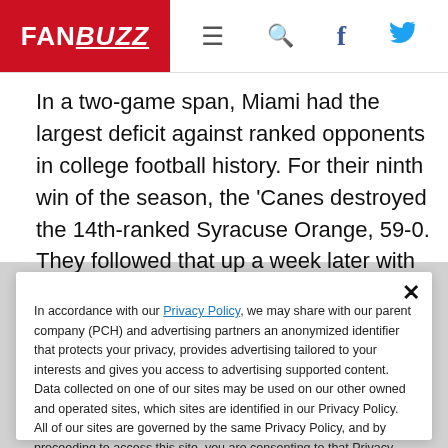FANBUZZ
In a two-game span, Miami had the largest deficit against ranked opponents in college football history. For their ninth win of the season, the 'Canes destroyed the 14th-ranked Syracuse Orange, 59-0. They followed that up a week later with a 65-7 beat-down of the 12th-ranked Washington Huskies, revenge for their only loss
In accordance with our Privacy Policy, we may share with our parent company (PCH) and advertising partners an anonymized identifier that protects your privacy, provides advertising tailored to your interests and gives you access to advertising supported content. Data collected on one of our sites may be used on our other owned and operated sites, which sites are identified in our Privacy Policy. All of our sites are governed by the same Privacy Policy, and by proceeding to access this site, you are consenting to that Privacy Policy.